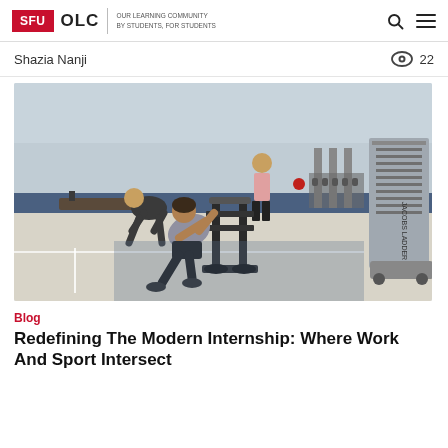SFU OLC | OUR LEARNING COMMUNITY BY STUDENTS, FOR STUDENTS
Shazia Nanji   👁 22
[Figure (photo): Photo of a gym interior showing a woman in athletic wear pushing a weighted sled on a blue track, with gym equipment and other people exercising in the background. A Jacobs Ladder machine is visible on the right.]
Blog
Redefining The Modern Internship: Where Work And Sport Intersect